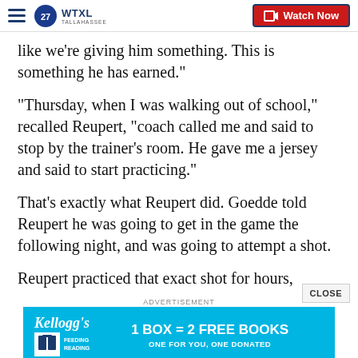WTXL TALLAHASSEE — Watch Now
like we're giving him something. This is something he has earned."
"Thursday, when I was walking out of school," recalled Reupert, "coach called me and said to stop by the trainer's room. He gave me a jersey and said to start practicing."
That's exactly what Reupert did. Goedde told Reupert he was going to get in the game the following night, and was going to attempt a shot.
Reupert practiced that exact shot for hours, leading to h...
[Figure (screenshot): Kellogg's Feeding Reading advertisement banner: '1 BOX = 2 FREE BOOKS — ONE FOR YOU, ONE DONATED' on a blue background]